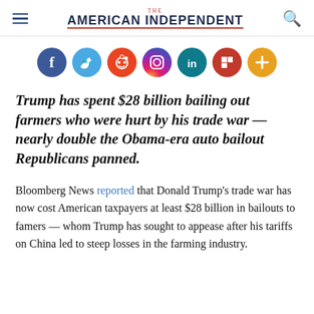THE AMERICAN INDEPENDENT
[Figure (illustration): Social media share buttons: Facebook (blue), Twitter (light blue), Reddit (orange-red), Instagram (gradient purple-orange), LinkedIn (teal-blue), Flipboard (red), More/Plus (orange)]
Trump has spent $28 billion bailing out farmers who were hurt by his trade war — nearly double the Obama-era auto bailout Republicans panned.
Bloomberg News reported that Donald Trump's trade war has now cost American taxpayers at least $28 billion in bailouts to famers — whom Trump has sought to appease after his tariffs on China led to steep losses in the farming industry.